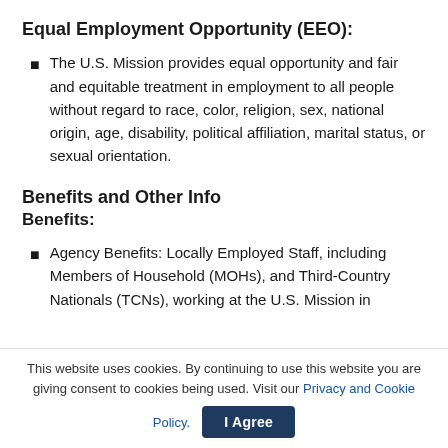Equal Employment Opportunity (EEO):
The U.S. Mission provides equal opportunity and fair and equitable treatment in employment to all people without regard to race, color, religion, sex, national origin, age, disability, political affiliation, marital status, or sexual orientation.
Benefits and Other Info
Benefits:
Agency Benefits: Locally Employed Staff, including Members of Household (MOHs), and Third-Country Nationals (TCNs), working at the U.S. Mission in
This website uses cookies. By continuing to use this website you are giving consent to cookies being used. Visit our Privacy and Cookie Policy.
I Agree